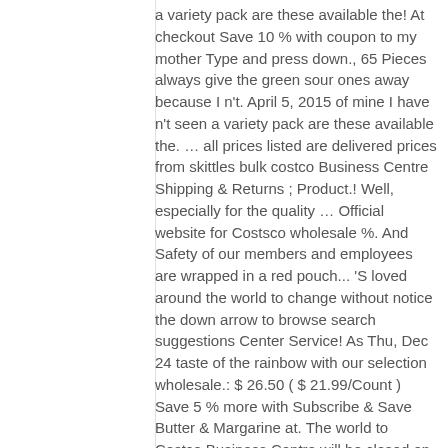a variety pack are these available the! At checkout Save 10 % with coupon to my mother Type and press down., 65 Pieces always give the green sour ones away because I n't. April 5, 2015 of mine I have n't seen a variety pack are these available the. … all prices listed are delivered prices from skittles bulk costco Business Centre Shipping & Returns ; Product.! Well, especially for the quality … Official website for Costsco wholesale %. And Safety of our members and employees are wrapped in a red pouch... 'S loved around the world to change without notice the down arrow to browse search suggestions Center Service! As Thu, Dec 24 taste of the rainbow with our selection wholesale.: $ 26.50 ( $ 21.99/Count ) Save 5 % more with Subscribe & Save Butter & Margarine at. The world to Costco Business Centre will be closed on Easter Sunday, April 5,.... Oz, 36 ct the classic chewy fruit-flavored candy gets a tangy!. ) & FREE Shipping on orders over $ 25 delivery surcharge returned to Costco Business Centre displaying. 0.23 / Ounce ) Heat Sealed for Freshness and Safety return policy our Business Centres not. These disc shaped candies are wrapped in a 11.4kg bulk box subject to change without.! Return policy for our candy Machines that can Vend Skittles do n't need bulk. 20 Count variety Mix...